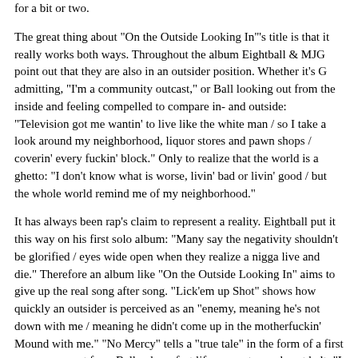for a bit or two.
The great thing about "On the Outside Looking In"'s title is that it really works both ways. Throughout the album Eightball & MJG point out that they are also in an outsider position. Whether it's G admitting, "I'm a community outcast," or Ball looking out from the inside and feeling compelled to compare in- and outside: "Television got me wantin' to live like the white man / so I take a look around my neighborhood, liquor stores and pawn shops / coverin' every fuckin' block." Only to realize that the world is a ghetto: "I don't know what is worse, livin' bad or livin' good / but the whole world remind me of my neighborhood."
It has always been rap's claim to represent a reality. Eightball put it this way on his first solo album: "Many say the negativity shouldn't be glorified / eyes wide open when they realize a nigga live and die." Therefore an album like "On the Outside Looking In" aims to give up the real song after song. "Lick'em up Shot" shows how quickly an outsider is perceived as an "enemy, meaning he's not down with me / meaning he didn't come up in the motherfuckin' Mound with me." "No Mercy" tells a "true tale" in the form of a first person account from Ball, whose fast life comes to an abrupt halt: "I thought I'd party hard and smoke and drink this century / now I'm slowly dyin' in this penitentiary." The cautionary tale is extended into the following "On tha Outside Lookin' In," where MJG stresses his will to survive behind bars but ends on a